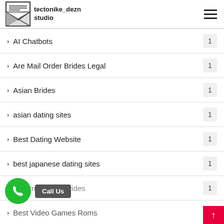tectonike_dezn studio
AI Chatbots — 1
Are Mail Order Brides Legal — 1
Asian Brides — 1
asian dating sites — 1
Best Dating Website — 1
best japanese dating sites — 1
best mail order brides — 1
Best Video Games Roms — 1